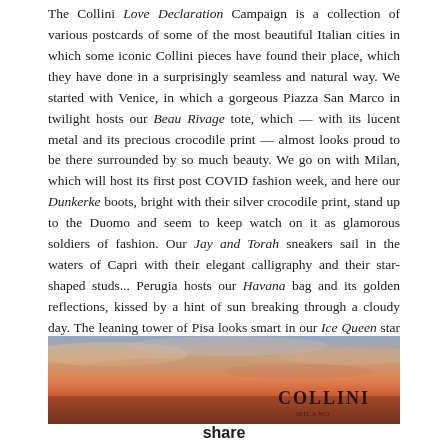The Collini Love Declaration Campaign is a collection of various postcards of some of the most beautiful Italian cities in which some iconic Collini pieces have found their place, which they have done in a surprisingly seamless and natural way. We started with Venice, in which a gorgeous Piazza San Marco in twilight hosts our Beau Rivage tote, which — with its lucent metal and its precious crocodile print — almost looks proud to be there surrounded by so much beauty. We go on with Milan, which will host its first post COVID fashion week, and here our Dunkerke boots, bright with their silver crocodile print, stand up to the Duomo and seem to keep watch on it as glamorous soldiers of fashion. Our Jay and Torah sneakers sail in the waters of Capri with their elegant calligraphy and their star-shaped studs... Perugia hosts our Havana bag and its golden reflections, kissed by a hint of sun breaking through a cloudy day. The leaning tower of Pisa looks smart in our Ice Queen star and gold leather blazer on the background of a glorious dusk and seems like it dressed up for a promising night out.
[Figure (photo): Sunset sky photograph with warm orange, pink and purple tones, with the COLLINI logo overlaid in dark text at the bottom right.]
share